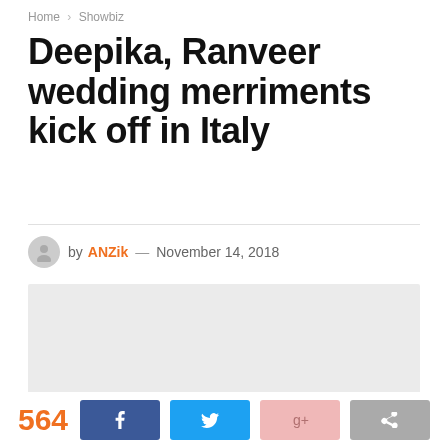Home > Showbiz
Deepika, Ranveer wedding merriments kick off in Italy
by ANZik — November 14, 2018
[Figure (photo): Placeholder image area (light gray rectangle)]
564